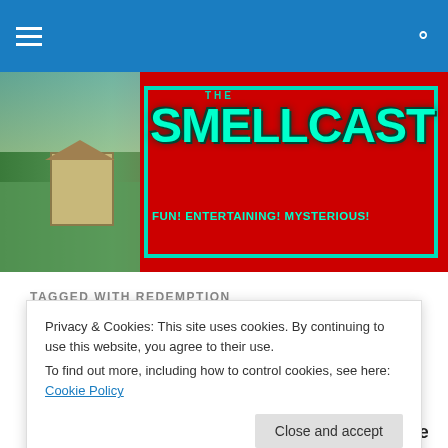navigation bar with hamburger menu and search icon
[Figure (illustration): The Smellcast website banner with red background, teal/cyan text reading THE SMELLCAST, tagline FUN! ENTERTAINING! MYSTERIOUS!, and a photo of chickens and a chicken coop on the left side]
TAGGED WITH REDEMPTION
sc 409 Yeah, She Caught My
Privacy & Cookies: This site uses cookies. By continuing to use this website, you agree to their use.
To find out more, including how to control cookies, see here: Cookie Policy
learn who lives! Who dies! And ... who wonTennie's